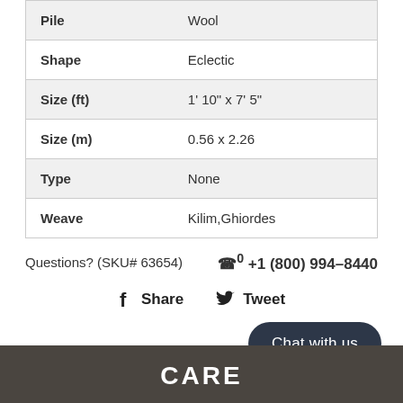| Property | Value |
| --- | --- |
| Pile | Wool |
| Shape | Eclectic |
| Size (ft) | 1' 10" x 7' 5" |
| Size (m) | 0.56 x 2.26 |
| Type | None |
| Weave | Kilim,Ghiordes |
Questions? (SKU# 63654)
+1 (800) 994-8440
Share
Tweet
Chat with us
CARE